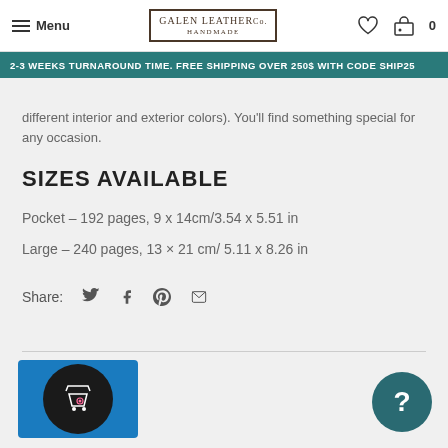Menu | Galen Leather Co. | Heart icon | Cart 0
2-3 WEEKS TURNAROUND TIME. FREE SHIPPING OVER 250$ WITH CODE SHIP25
different interior and exterior colors). You'll find something special for any occasion.
SIZES AVAILABLE
Pocket – 192 pages, 9 x 14cm/3.54 x 5.51 in
Large – 240 pages, 13 × 21 cm/ 5.11 x 8.26 in
Share:
[Figure (other): Shopping bag with heart icon widget in blue square]
[Figure (other): Help/question mark circle button in teal]